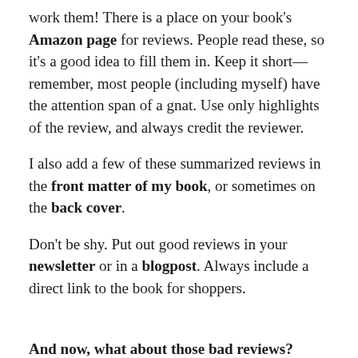work them! There is a place on your book's Amazon page for reviews. People read these, so it's a good idea to fill them in. Keep it short— remember, most people (including myself) have the attention span of a gnat. Use only highlights of the review, and always credit the reviewer.
I also add a few of these summarized reviews in the front matter of my book, or sometimes on the back cover.
Don't be shy. Put out good reviews in your newsletter or in a blogpost. Always include a direct link to the book for shoppers.
And now, what about those bad reviews?
There are various ways to deal with the eventuality of a